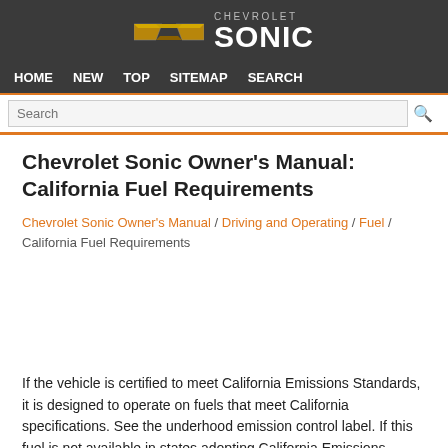CHEVROLET SONIC
HOME  NEW  TOP  SITEMAP  SEARCH
Chevrolet Sonic Owner's Manual: California Fuel Requirements
Chevrolet Sonic Owner's Manual / Driving and Operating / Fuel / California Fuel Requirements
If the vehicle is certified to meet California Emissions Standards, it is designed to operate on fuels that meet California specifications. See the underhood emission control label. If this fuel is not available in states adopting California Emissions Standards, the vehicle will operate satisfactorily on fuels meeting federal specifications, but emission